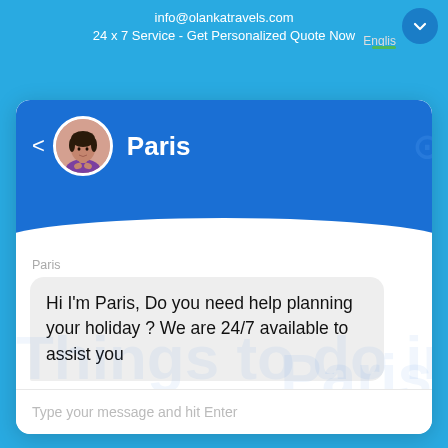info@olankatravels.com
24 x 7 Service - Get Personalized Quote Now
Englis
[Figure (screenshot): Chat widget showing a bot named Paris with avatar. Header in blue with back arrow and avatar. Chat bubble: 'Hi I'm Paris, Do you need help planning your holiday ? We are 24/7 available to assist you'. Input field: 'Type your message and hit Enter'.]
Paris
Hi I'm Paris, Do you need help planning your holiday ? We are 24/7 available to assist you
Type your message and hit Enter